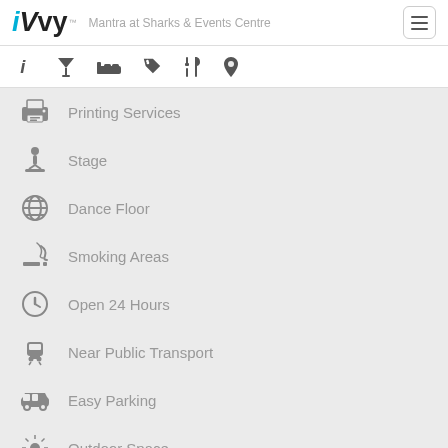iVvy — Mantra at Sharks & Events Centre
Printing Services
Stage
Dance Floor
Smoking Areas
Open 24 Hours
Near Public Transport
Easy Parking
Outdoor Space
Rooftop